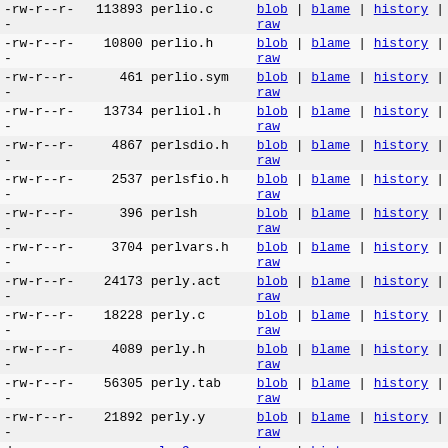| permissions | size | name | actions |
| --- | --- | --- | --- |
| -rw-r--r-- | 113893 | perlio.c | blob | blame | history |
raw |
| -rw-r--r-- | 10800 | perlio.h | blob | blame | history |
raw |
| -rw-r--r-- | 461 | perlio.sym | blob | blame | history |
raw |
| -rw-r--r-- | 13734 | perliol.h | blob | blame | history |
raw |
| -rw-r--r-- | 4867 | perlsdio.h | blob | blame | history |
raw |
| -rw-r--r-- | 2537 | perlsfio.h | blob | blame | history |
raw |
| -rw-r--r-- | 396 | perlsh | blob | blame | history |
raw |
| -rw-r--r-- | 3704 | perlvars.h | blob | blame | history |
raw |
| -rw-r--r-- | 24173 | perly.act | blob | blame | history |
raw |
| -rw-r--r-- | 18228 | perly.c | blob | blame | history |
raw |
| -rw-r--r-- | 4089 | perly.h | blob | blame | history |
raw |
| -rw-r--r-- | 56305 | perly.tab | blob | blame | history |
raw |
| -rw-r--r-- | 21892 | perly.y | blob | blame | history |
raw |
| drwxr-xr-x | - | plan9 | tree | history |